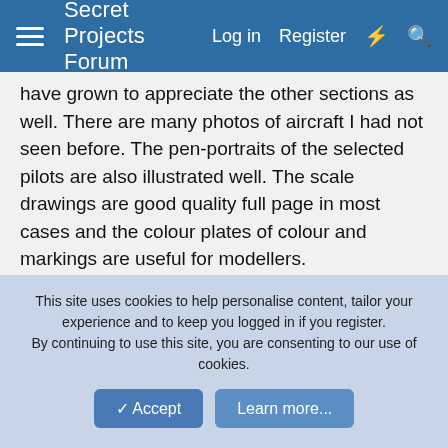Secret Projects Forum   Log in   Register
have grown to appreciate the other sections as well. There are many photos of aircraft I had not seen before. The pen-portraits of the selected pilots are also illustrated well. The scale drawings are good quality full page in most cases and the colour plates of colour and markings are useful for modellers.
The aircraft types is limited to the major manufacturers of the period.
One real complaint, the book is far too heavy!
Oh, in answer to your original question - "is it worth it?" - I think so, but I have no idea what the current asking price is. I think I paid 45 British Pounds back in the day.
This site uses cookies to help personalise content, tailor your experience and to keep you logged in if you register.
By continuing to use this site, you are consenting to our use of cookies.